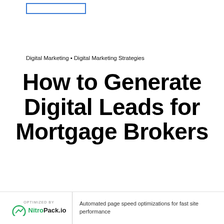[Figure (logo): Logo placeholder box with blue border, top left area]
Digital Marketing • Digital Marketing Strategies
How to Generate Digital Leads for Mortgage Brokers
OPTIMIZED BY NitroPack.io | Automated page speed optimizations for fast site performance